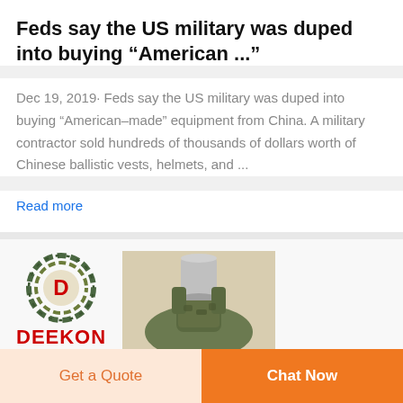Feds say the US military was duped into buying “American ...”
Dec 19, 2019· Feds say the US military was duped into buying “American-made” equipment from China. A military contractor sold hundreds of thousands of dollars worth of Chinese ballistic vests, helmets, and ...
Read more
[Figure (logo): DEEKON logo with circular camouflage-patterned emblem and red D in center, with red DEEKON text below]
[Figure (photo): Military ballistic vest and helmet on a mannequin, olive/camouflage colored protective gear]